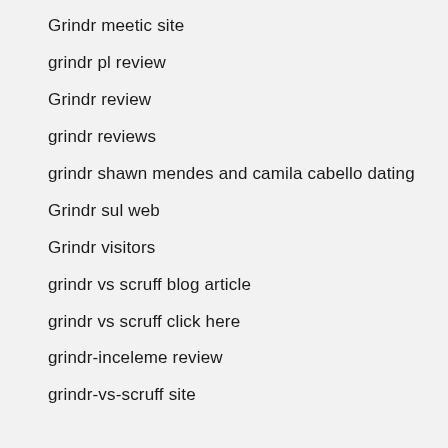Grindr meetic site
grindr pl review
Grindr review
grindr reviews
grindr shawn mendes and camila cabello dating
Grindr sul web
Grindr visitors
grindr vs scruff blog article
grindr vs scruff click here
grindr-inceleme review
grindr-vs-scruff site